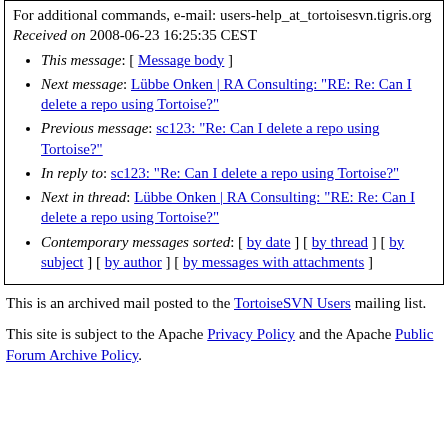For additional commands, e-mail: users-help_at_tortoisesvn.tigris.org
Received on 2008-06-23 16:25:35 CEST
This message: [ Message body ]
Next message: Lübbe Onken | RA Consulting: "RE: Re: Can I delete a repo using Tortoise?"
Previous message: sc123: "Re: Can I delete a repo using Tortoise?"
In reply to: sc123: "Re: Can I delete a repo using Tortoise?"
Next in thread: Lübbe Onken | RA Consulting: "RE: Re: Can I delete a repo using Tortoise?"
Contemporary messages sorted: [ by date ] [ by thread ] [ by subject ] [ by author ] [ by messages with attachments ]
This is an archived mail posted to the TortoiseSVN Users mailing list.
This site is subject to the Apache Privacy Policy and the Apache Public Forum Archive Policy.